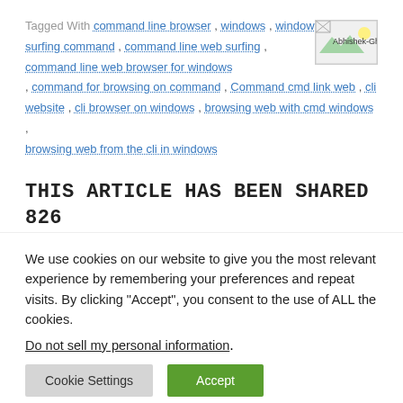Tagged With command line browser , windows , windows web surfing , command , command line web surfing , command line web browser for windows , command for browsing on command , Command cmd link web , cli website , cli browser on windows , browsing web with cmd windows , browsing web from the cli in windows
[Figure (photo): Broken image placeholder labeled 'Abhishek-Ghosh']
THIS ARTICLE HAS BEEN SHARED 826 TIMES!
We use cookies on our website to give you the most relevant experience by remembering your preferences and repeat visits. By clicking "Accept", you consent to the use of ALL the cookies.
Do not sell my personal information.